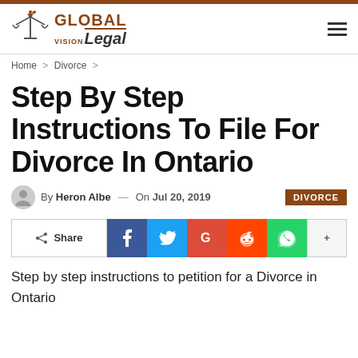[Figure (logo): Global Vision Legal logo with scales of justice icon and brown text]
Home > Divorce >
Step By Step Instructions To File For Divorce In Ontario
By Heron Albe — On Jul 20, 2019  DIVORCE
[Figure (infographic): Social share bar with Share, Facebook, Twitter, Google+, Reddit, WhatsApp, and plus buttons]
Step by step instructions to petition for a Divorce in Ontario